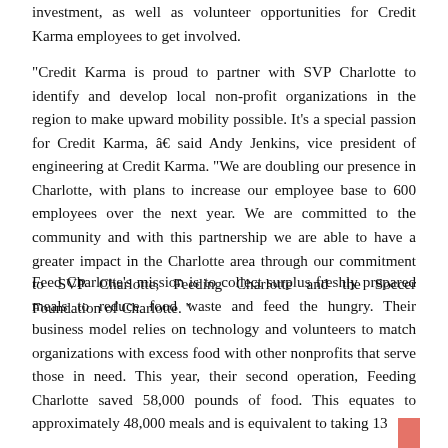investment, as well as volunteer opportunities for Credit Karma employees to get involved.
“Credit Karma is proud to partner with SVP Charlotte to identify and develop local non-profit organizations in the region to make upward mobility possible. It’s a special passion for Credit Karma, â€ said Andy Jenkins, vice president of engineering at Credit Karma. “We are doubling our presence in Charlotte, with plans to increase our employee base to 600 employees over the next year. We are committed to the community and with this partnership we are able to have a greater impact in the Charlotte area through our commitment to SVP Charlotte, Feeding Charlotte and the Soccer Foundation of Charlotte.”
Feed Charlotte’s mission is to collect surplus freshly prepared meals to reduce food waste and feed the hungry. Their business model relies on technology and volunteers to match organizations with excess food with other nonprofits that serve those in need. This year, their second operation, Feeding Charlotte saved 58,000 pounds of food. This equates to approximately 48,000 meals and is equivalent to taking 13